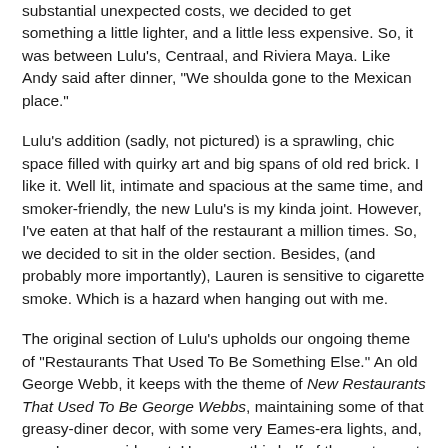substantial unexpected costs, we decided to get something a little lighter, and a little less expensive. So, it was between Lulu's, Centraal, and Riviera Maya. Like Andy said after dinner, "We shoulda gone to the Mexican place."
Lulu's addition (sadly, not pictured) is a sprawling, chic space filled with quirky art and big spans of old red brick. I like it. Well lit, intimate and spacious at the same time, and smoker-friendly, the new Lulu's is my kinda joint. However, I've eaten at that half of the restaurant a million times. So, we decided to sit in the older section. Besides, (and probably more importantly), Lauren is sensitive to cigarette smoke. Which is a hazard when hanging out with me.
The original section of Lulu's upholds our ongoing theme of "Restaurants That Used To Be Something Else." An old George Webb, it keeps with the theme of New Restaurants That Used To Be George Webbs, maintaining some of that greasy-diner decor, with some very Eames-era lights, and, gasp!, more quirky art. However, this half of the restaurant is very poorly lit, with some bright, obnoxious halogen task lighting behind the counter, and yellow-tinged light bleeding over the length of the room from the row of conflated...